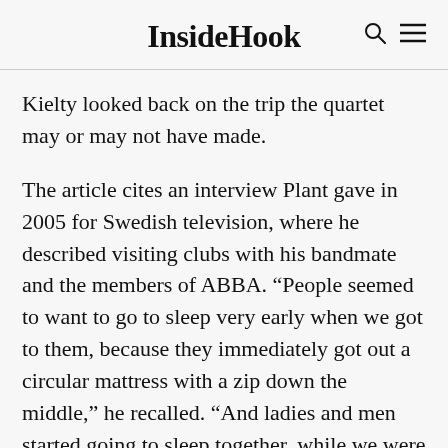InsideHook
Kielty looked back on the trip the quartet may or may not have made.
The article cites an interview Plant gave in 2005 for Swedish television, where he described visiting clubs with his bandmate and the members of ABBA. “People seemed to want to go to sleep very early when we got to them, because they immediately got out a circular mattress with a zip down the middle,” he recalled. “And ladies and men started going to sleep together, while we were having a drinkie-